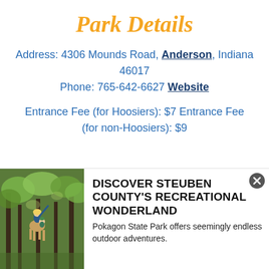Park Details
Address: 4306 Mounds Road, Anderson, Indiana 46017
Phone: 765-642-6627 Website
Entrance Fee (for Hoosiers): $7 Entrance Fee (for non-Hoosiers): $9
[Figure (photo): Woman on horseback with child in a forested setting, pointing upward]
DISCOVER STEUBEN COUNTY'S RECREATIONAL WONDERLAND
Pokagon State Park offers seemingly endless outdoor adventures.